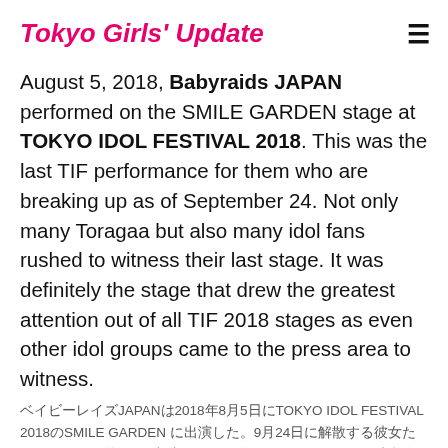Tokyo Girls' Update
August 5, 2018, Babyraids JAPAN performed on the SMILE GARDEN stage at TOKYO IDOL FESTIVAL 2018. This was the last TIF performance for them who are breaking up as of September 24. Not only many Toragaa but also many idol fans rushed to witness their last stage. It was definitely the stage that drew the greatest attention out of all TIF 2018 stages as even other idol groups came to the press area to witness.
ベイビーレイズJAPANは2018年8月5日にTOKYO IDOL FESTIVAL 2018のSMILE GARDENに出演した。9月24日に解散する彼女たちにとって最後のTIF出演となった今回のステージには、虎賀衆だけでなく多くのアイドルファンが最後のステージを目撃しようと集まった。他のアイドルグループもプレスエリアから見守るほど、TIF2018の中で最も注目を集めたステージだったことは間違いない。